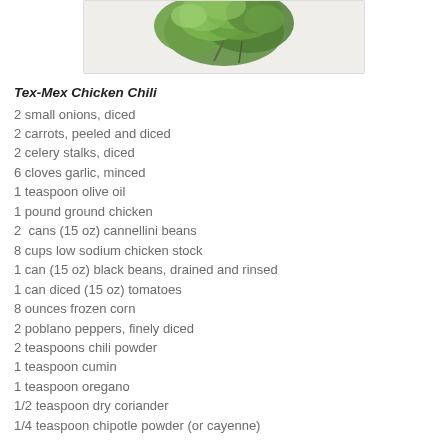[Figure (photo): Photo of fresh green herbs (appears to be cilantro/parsley) on a white background, partially cropped at top]
Tex-Mex Chicken Chili
2 small onions, diced
2 carrots, peeled and diced
2 celery stalks, diced
6 cloves garlic, minced
1 teaspoon olive oil
1 pound ground chicken
2  cans (15 oz) cannellini beans
8 cups low sodium chicken stock
1 can (15 oz) black beans, drained and rinsed
1 can diced (15 oz) tomatoes
8 ounces frozen corn
2 poblano peppers, finely diced
2 teaspoons chili powder
1 teaspoon cumin
1 teaspoon oregano
1/2 teaspoon dry coriander
1/4 teaspoon chipotle powder (or cayenne)